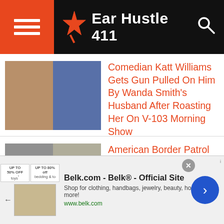Ear Hustle 411
Comedian Katt Williams Gets Gun Pulled On Him By Wanda Smith's Husband After Roasting Her On V-103 Morning Show
American Border Patrol Turns Out To Be A Serial Killer & Charged With Killing 4 Women
[Video] Police Knocks down Hispanic Man's Door With No Warrant Points AR-15 At Him & Put in In Cuffs From A
[Figure (other): Advertisement banner for Belk.com - Belk® - Official Site. Shop for clothing, handbags, jewelry, beauty, home & more! www.belk.com]